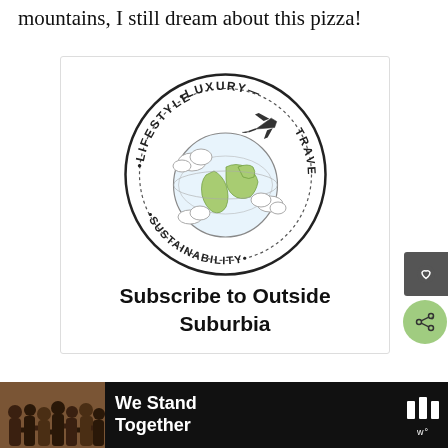mountains, I still dream about this pizza!
[Figure (logo): Circular logo with text reading 'LIFESTYLE • LUXURY — TRAVEL • SUSTAINABILITY' around the border, featuring a globe with continents, clouds, and an airplane flying in the upper right.]
Subscribe to Outside Suburbia
[Figure (photo): Advertisement banner: group of people with arms around each other, text reads 'We Stand Together', with a small logo on the right.]